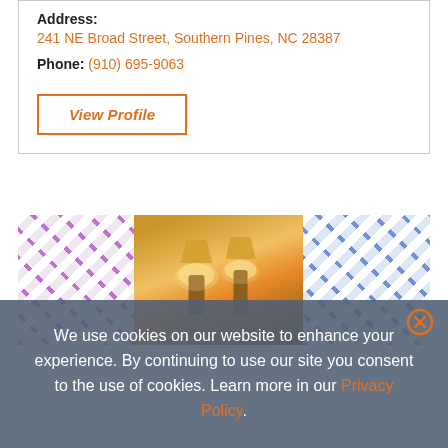Address: 241 NE Broad Street, Southern Pines, NC 28387
Phone: (910) 695-9063
View Profile
[Figure (photo): Interior photo strip showing floral fabric panels on the sides and warm lamp lighting in the center]
We use cookies on our website to enhance your experience. By continuing to use our site you consent to the use of cookies. Learn more in our Privacy Policy.